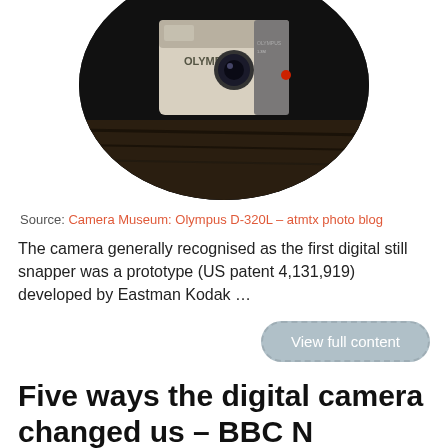[Figure (photo): Circular cropped photo of an Olympus D-320L digital camera against a dark background, showing the top and front of the camera with the Olympus brand name visible.]
Source: Camera Museum: Olympus D-320L – atmtx photo blog
The camera generally recognised as the first digital still snapper was a prototype (US patent 4,131,919) developed by Eastman Kodak …
View full content
Five ways the digital camera changed us – BBC N